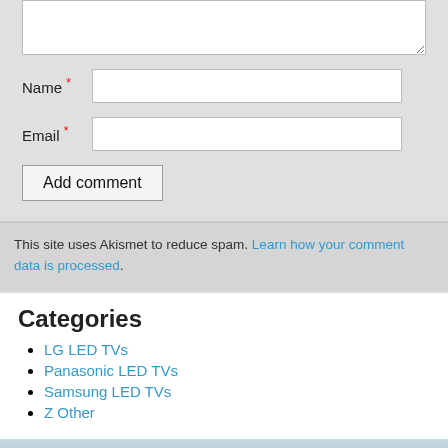[Figure (screenshot): Textarea (top portion) for comment input, partially visible at top of page]
Name *
Email *
Add comment
This site uses Akismet to reduce spam. Learn how your comment data is processed.
Categories
LG LED TVs
Panasonic LED TVs
Samsung LED TVs
Z Other